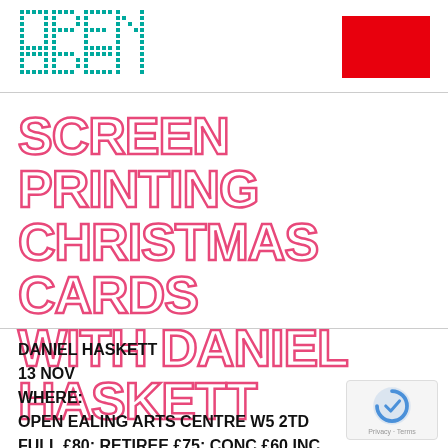[Figure (logo): OPEN logo made of teal/cyan dots in dot-matrix style]
[Figure (other): Solid red rectangle, possibly a menu or button graphic]
SCREEN PRINTING CHRISTMAS CARDS WITH DANIEL HASKETT
DANIEL HASKETT
13 NOV
WHERE:
OPEN EALING ARTS CENTRE W5 2TD
FULL £80; RETIREE £75; CONC £60 INC